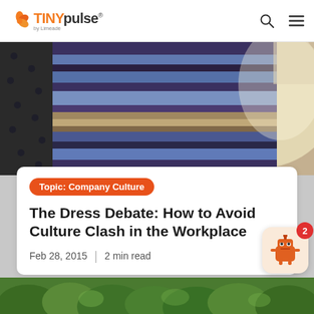TINYpulse by Limeade
[Figure (photo): Close-up photo of the viral 'The Dress' — a striped garment appearing blue and black (or white and gold depending on perception), displayed on a hanger.]
Topic: Company Culture
The Dress Debate: How to Avoid Culture Clash in the Workplace
Feb 28, 2015  |  2 min read
[Figure (photo): Partial view of a green forest/trees image at the bottom of the page.]